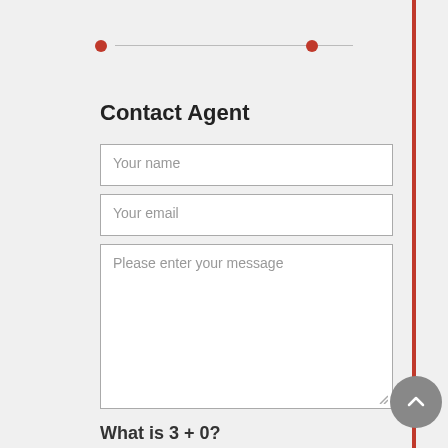Contact Agent
Your name
Your email
Please enter your message
What is 3 + 0?